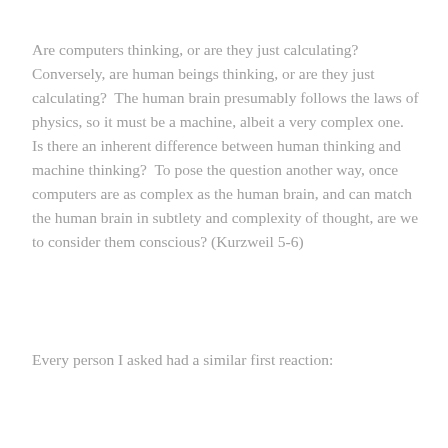Are computers thinking, or are they just calculating?  Conversely, are human beings thinking, or are they just calculating?  The human brain presumably follows the laws of physics, so it must be a machine, albeit a very complex one.  Is there an inherent difference between human thinking and machine thinking?  To pose the question another way, once computers are as complex as the human brain, and can match the human brain in subtlety and complexity of thought, are we to consider them conscious? (Kurzweil 5-6)
Every person I asked had a similar first reaction: